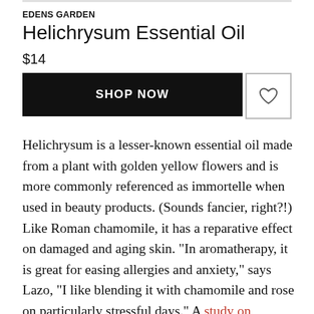EDENS GARDEN
Helichrysum Essential Oil
$14
[Figure (other): Shop Now button (black rectangle with white bold uppercase text) and heart/wishlist icon button (white square with border and heart outline icon)]
Helichrysum is a lesser-known essential oil made from a plant with golden yellow flowers and is more commonly referenced as immortelle when used in beauty products. (Sounds fancier, right?!) Like Roman chamomile, it has a reparative effect on damaged and aging skin. "In aromatherapy, it is great for easing allergies and anxiety," says Lazo, "I like blending it with chamomile and rose on particularly stressful days." A study on arzanol, a compound in helichrysum, was found to inhibit a whole